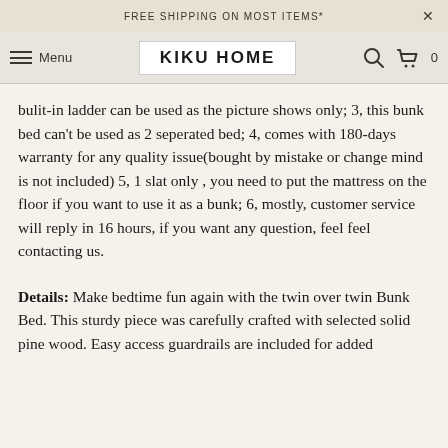FREE SHIPPING ON MOST ITEMS*
Menu  KIKU HOME
bulit-in ladder can be used as the picture shows only; 3, this bunk bed can't be used as 2 seperated bed; 4, comes with 180-days warranty for any quality issue(bought by mistake or change mind is not included) 5, 1 slat only , you need to put the mattress on the floor if you want to use it as a bunk; 6, mostly, customer service will reply in 16 hours, if you want any question, feel feel contacting us.
Details: Make bedtime fun again with the twin over twin Bunk Bed. This sturdy piece was carefully crafted with selected solid pine wood. Easy access guardrails are included for added